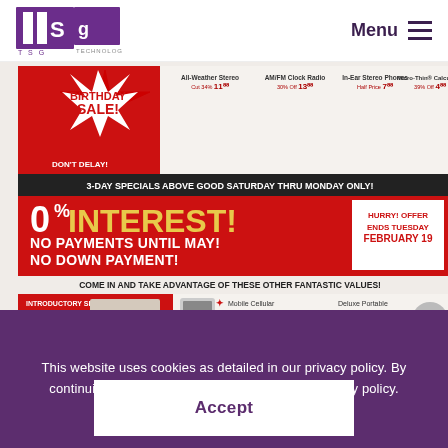TSG | Menu
[Figure (photo): Vintage Radio Shack Birthday Sale advertisement featuring 0% Interest, No Payments Until May, No Down Payment offer. Items shown include a Tandy 1000 TL/S Computer System (Save $670, $1599), Mobile Cellular Telephone (Save $100, $199), Deluxe Portable CD Player (Save $40, $159.95). 3-Day Specials Saturday thru Monday. Also shows All-Weather Stereo, AM/FM Clock Radio, In-Ear Stereo Phones, Micro-Thin Calculator.]
This website uses cookies as detailed in our privacy policy. By continuing to browse you are agreeing to our privacy policy.
Accept